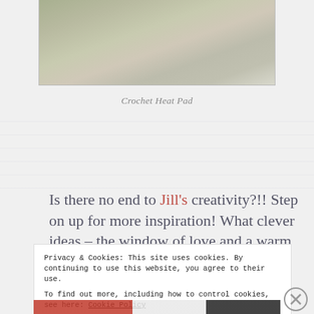[Figure (photo): Close-up photograph of a crochet heat pad with green and pink/mauve colors on a grey fabric background, showing the bottom portion of the item.]
Crochet Heat Pad
Is there no end to Jill's creativity?!! Step on up for more inspiration! What clever ideas – the window of love and a warm hug around
Privacy & Cookies: This site uses cookies. By continuing to use this website, you agree to their use.
To find out more, including how to control cookies, see here: Cookie Policy
Close and accept